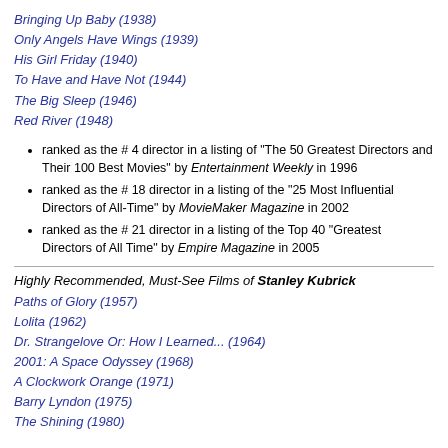Bringing Up Baby (1938)
Only Angels Have Wings (1939)
His Girl Friday (1940)
To Have and Have Not (1944)
The Big Sleep (1946)
Red River (1948)
ranked as the # 4 director in a listing of "The 50 Greatest Directors and Their 100 Best Movies" by Entertainment Weekly in 1996
ranked as the # 18 director in a listing of the "25 Most Influential Directors of All-Time" by MovieMaker Magazine in 2002
ranked as the # 21 director in a listing of the Top 40 "Greatest Directors of All Time" by Empire Magazine in 2005
Highly Recommended, Must-See Films of Stanley Kubrick
Paths of Glory (1957)
Lolita (1962)
Dr. Strangelove Or: How I Learned... (1964)
2001: A Space Odyssey (1968)
A Clockwork Orange (1971)
Barry Lyndon (1975)
The Shining (1980)